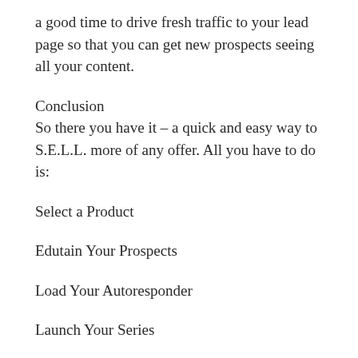a good time to drive fresh traffic to your lead page so that you can get new prospects seeing all your content.
Conclusion
So there you have it – a quick and easy way to S.E.L.L. more of any offer. All you have to do is:
Select a Product
Edutain Your Prospects
Load Your Autoresponder
Launch Your Series
Now is a great time to put this proven strategy to work, so get busy selecting